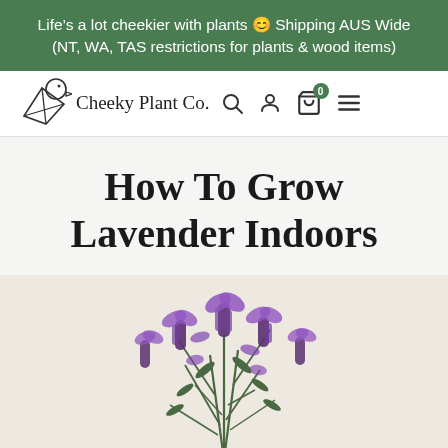Life’s a lot cheekier with plants 😊 Shipping AUS Wide (NT, WA, TAS restrictions for plants & wood items)
[Figure (logo): Cheeky Plant Co. logo with geometric duck bird and company name, plus search, user, cart and menu icons]
How To Grow Lavender Indoors
[Figure (photo): A lavender plant with purple flowers in a pot against a light beige background]